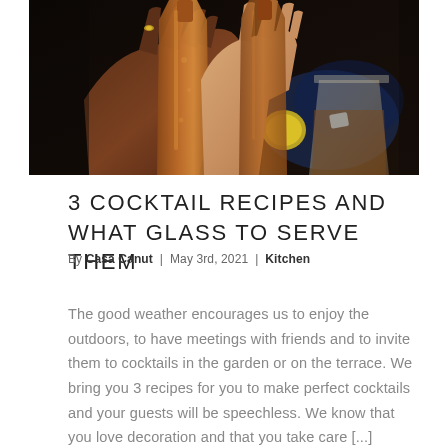[Figure (photo): Hands clinking amber cocktail bottles and glasses together in a toast, with a yellow citrus fruit visible in the background]
3 COCKTAIL RECIPES AND WHAT GLASS TO SERVE THEM
By Casa Canut | May 3rd, 2021 | Kitchen
The good weather encourages us to enjoy the outdoors, to have meetings with friends and to invite them to cocktails in the garden or on the terrace. We bring you 3 recipes for you to make perfect cocktails and your guests will be speechless. We know that you love decoration and that you take care [...]